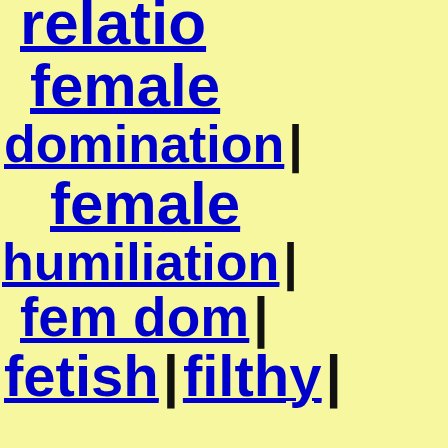relatio
female
domination |
female
humiliation |
fem dom |
fetish | filthy |